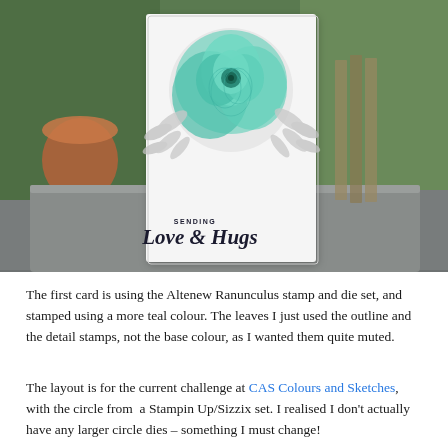[Figure (photo): A handmade greeting card photographed outdoors on a stone surface. The white card features a large teal/mint coloured ranunculus flower stamp with delicate leaf stamps, and a circular die-cut window. The card reads 'SENDING Love & Hugs' at the bottom. Garden background visible.]
The first card is using the Altenew Ranunculus stamp and die set, and stamped using a more teal colour. The leaves I just used the outline and the detail stamps, not the base colour, as I wanted them quite muted.
The layout is for the current challenge at CAS Colours and Sketches, with the circle from  a Stampin Up/Sizzix set. I realised I don't actually have any larger circle dies – something I must change!